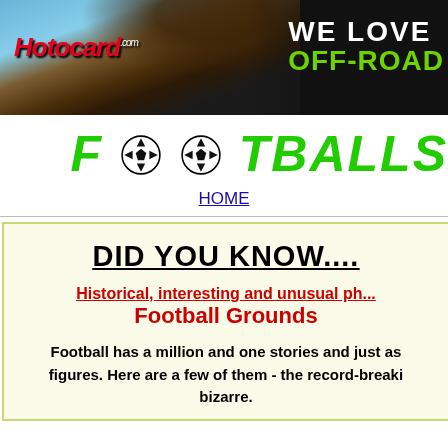[Figure (photo): Motocard.com banner advertisement showing off-road racing/motocross with dirt flying, blue sky, and text 'WE LOVE OFF-ROAD' in white and green on dark background]
[Figure (logo): Footballs... website logo in large green italic bold text with football/soccer ball icons replacing the O letters]
HOME
DID YOU KNOW....
Historical, interesting and unusual ph... Football Grounds
Football has a million and one stories and just as many figures. Here are a few of them - the record-breaki... bizarre.